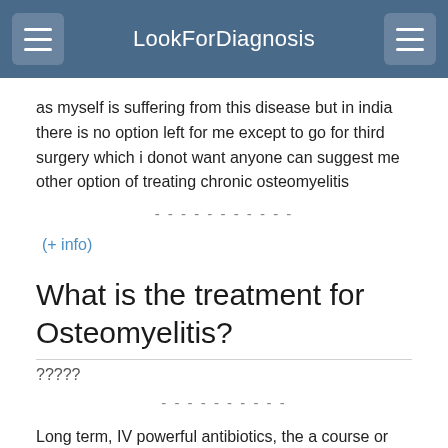LookForDiagnosis
as myself is suffering from this disease but in india there is no option left for me except to go for third surgery which i donot want anyone can suggest me other option of treating chronic osteomyelitis
(+ info)
What is the treatment for Osteomyelitis?
?????
Long term, IV powerful antibiotics, the a course or oral ones.  (+ info)